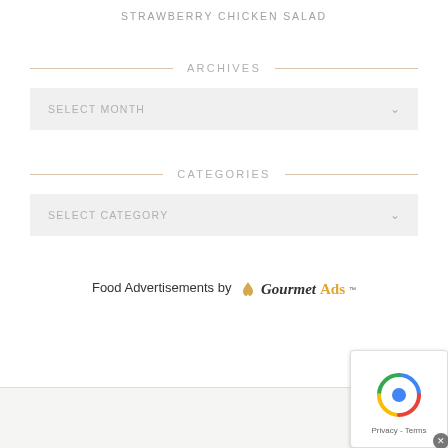STRAWBERRY CHICKEN SALAD
ARCHIVES
SELECT MONTH
CATEGORIES
SELECT CATEGORY
Food Advertisements by GourmetAds™
[Figure (illustration): Cursive script watermark reading 'follow jennifer' rotated vertically on left side]
[Figure (other): Google reCAPTCHA badge in bottom right corner with Privacy and Terms links]